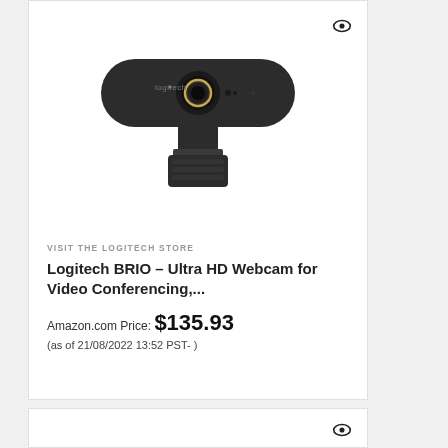[Figure (photo): Logitech BRIO webcam product photo — black elongated bar-shaped webcam with lens and clip mount]
VISIT THE LOGITECH STORE
Logitech BRIO – Ultra HD Webcam for Video Conferencing,...
Amazon.com Price: $135.93 (as of 21/08/2022 13:52 PST- )